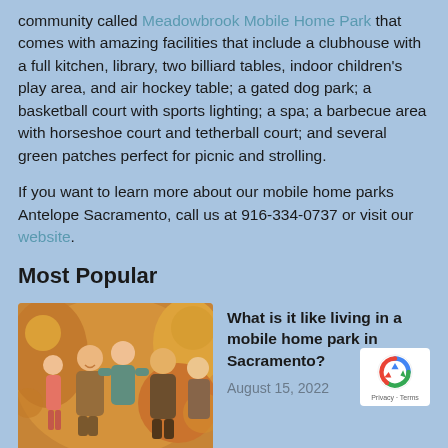community called Meadowbrook Mobile Home Park that comes with amazing facilities that include a clubhouse with a full kitchen, library, two billiard tables, indoor children's play area, and air hockey table; a gated dog park; a basketball court with sports lighting; a spa; a barbecue area with horseshoe court and tetherball court; and several green patches perfect for picnic and strolling.
If you want to learn more about our mobile home parks Antelope Sacramento, call us at 916-334-0737 or visit our website.
Most Popular
[Figure (photo): A group of happy people, including children and adults, outdoors in warm autumn tones]
What is it like living in a mobile home park in Sacramento?
August 15, 2022